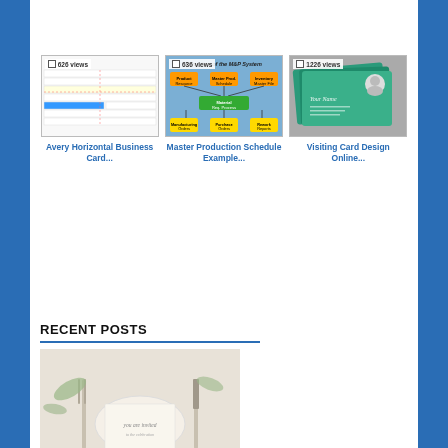[Figure (screenshot): Thumbnail of Avery Horizontal Business Card spreadsheet template with 626 views]
Avery Horizontal Business Card...
[Figure (flowchart): Thumbnail of Master Production Schedule Example MRP system overview flowchart with 636 views]
Master Production Schedule Example...
[Figure (screenshot): Thumbnail of Visiting Card Design Online showing green business cards with photo with 1226 views]
Visiting Card Design Online...
RECENT POSTS
[Figure (photo): Photo of a place setting with cutlery and an invitation card on a white table]